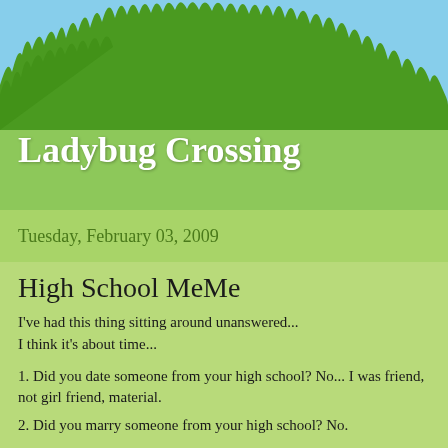Ladybug Crossing
Tuesday, February 03, 2009
High School MeMe
I've had this thing sitting around unanswered...
I think it's about time...
1. Did you date someone from your high school? No... I was friend, not girl friend, material.
2. Did you marry someone from your high school? No.
3. Did you car pool to School? No. Dad gave me a ride or I walked - up hill both ways... in the snow...
4. What kind of car did you have? I got to borrow Dad's station